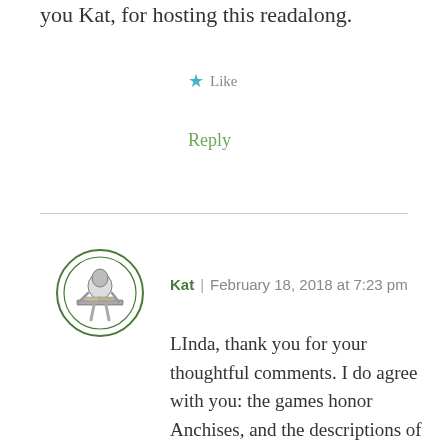you Kat, for hosting this readalong.
Like
Reply
Kat | February 18, 2018 at 7:23 pm
LInda, thank you for your thoughtful comments. I do agree with you: the games honor Anchises, and the descriptions of the games are vivid. Aeneas was unwilling to take control before Anchises’s death, and that’s where some of the extra travel time came in, alas. Aeneas is really in a weak position during these first books